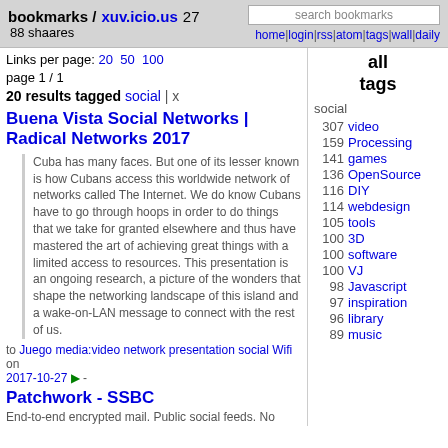bookmarks / xuv.icio.us 27  88 shaares | home | login | rss | atom | tags | wall | daily
Links per page: 20  50  100
page 1 / 1
20 results tagged social | x
Buena Vista Social Networks | Radical Networks 2017
Cuba has many faces. But one of its lesser known is how Cubans access this worldwide network of networks called The Internet. We do know Cubans have to go through hoops in order to do things that we take for granted elsewhere and thus have mastered the art of achieving great things with a limited access to resources. This presentation is an ongoing research, a picture of the wonders that shape the networking landscape of this island and a wake-on-LAN message to connect with the rest of us.
to Juego media:video network presentation social Wifi on 2017-10-27 -
Patchwork - SSBC
End-to-end encrypted mail. Public social feeds. No
all tags
social
307 video
159 Processing
141 games
136 OpenSource
116 DIY
114 webdesign
105 tools
100 3D
100 software
100 VJ
98 Javascript
97 inspiration
96 library
89 music